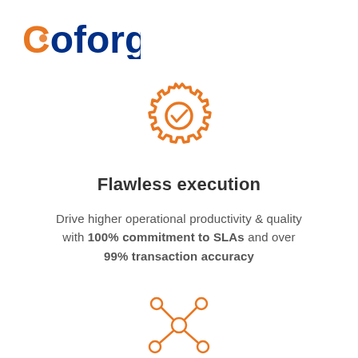[Figure (logo): Coforge logo with orange and blue text]
[Figure (illustration): Orange gear icon with a checkmark inside]
Flawless execution
Drive higher operational productivity & quality with 100% commitment to SLAs and over 99% transaction accuracy
[Figure (illustration): Orange network/hub icon with circles connected by lines]